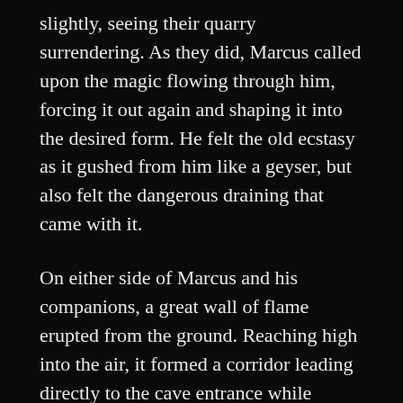slightly, seeing their quarry surrendering. As they did, Marcus called upon the magic flowing through him, forcing it out again and shaping it into the desired form. He felt the old ecstasy as it gushed from him like a geyser, but also felt the dangerous draining that came with it.
On either side of Marcus and his companions, a great wall of flame erupted from the ground. Reaching high into the air, it formed a corridor leading directly to the cave entrance while blocking them from the view of all the centaurs save the large black one that stood directly before them.
Beorgan reeled in shock as the magic exploded around him. Taking a few steps backward, his hindquarters backed into the wall of fire and he gave a